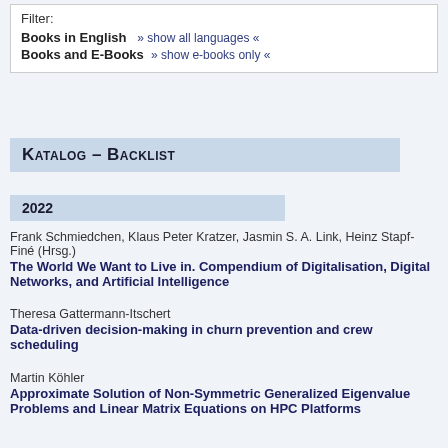Filter:
Books in English   » show all languages «
Books and E-Books   » show e-books only «
Katalog – Backlist
2022
Frank Schmiedchen, Klaus Peter Kratzer, Jasmin S. A. Link, Heinz Stapf-Finé (Hrsg.)
The World We Want to Live in. Compendium of Digitalisation, Digital Networks, and Artificial Intelligence
Theresa Gattermann-Itschert
Data-driven decision-making in churn prevention and crew scheduling
Martin Köhler
Approximate Solution of Non-Symmetric Generalized Eigenvalue Problems and Linear Matrix Equations on HPC Platforms